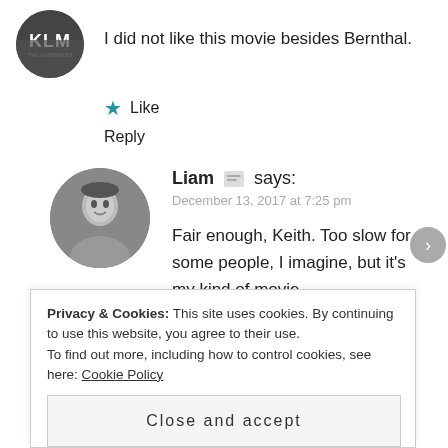I did not like this movie besides Bernthal.
Like
Reply
Liam says:
December 13, 2017 at 7:25 pm
Fair enough, Keith. Too slow for some people, I imagine, but it’s my kind of movie.
Like
Privacy & Cookies: This site uses cookies. By continuing to use this website, you agree to their use. To find out more, including how to control cookies, see here: Cookie Policy
Close and accept